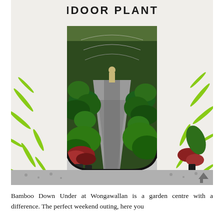[Figure (photo): A garden centre entrance with a large white arch-shaped facade bearing the text 'INDOOR PLANTS' at the top. Through the archway, a gravel path leads into a greenhouse tunnel filled with lush tropical plants on both sides, including bromeliads, ferns, and large-leafed plants. A garden statue is visible at the end of the path. Bamboo leaf decorations appear on the sides of the white structure.]
Bamboo Down Under at Wongawallan is a garden centre with a difference. The perfect weekend outing, here you